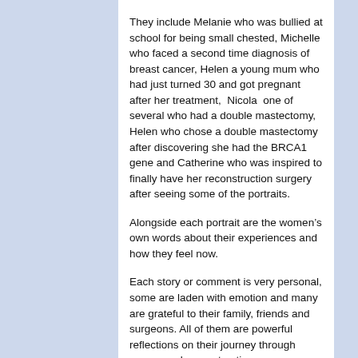They include Melanie who was bullied at school for being small chested, Michelle who faced a second time diagnosis of breast cancer, Helen a young mum who had just turned 30 and got pregnant after her treatment,  Nicola  one of several who had a double mastectomy, Helen who chose a double mastectomy after discovering she had the BRCA1 gene and Catherine who was inspired to finally have her reconstruction surgery after seeing some of the portraits.
Alongside each portrait are the women's own words about their experiences and how they feel now.
Each story or comment is very personal, some are laden with emotion and many are grateful to their family, friends and surgeons. All of them are powerful reflections on their journey through cancer and reconstruction
“At the age of 62, I am out, and proud, and very loud! Empowered by my new found